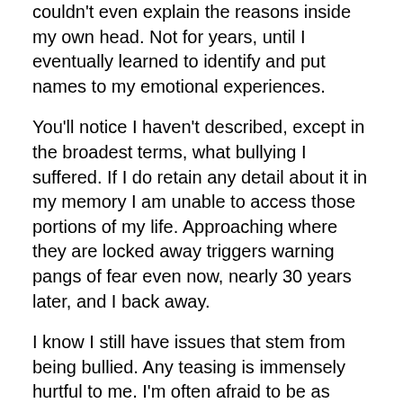couldn't even explain the reasons inside my own head. Not for years, until I eventually learned to identify and put names to my emotional experiences.
You'll notice I haven't described, except in the broadest terms, what bullying I suffered. If I do retain any detail about it in my memory I am unable to access those portions of my life. Approaching where they are locked away triggers warning pangs of fear even now, nearly 30 years later, and I back away.
I know I still have issues that stem from being bullied. Any teasing is immensely hurtful to me. I'm often afraid to be as expressive as I'd like to because I expect to be ridiculed. Even though I often don't show much feeling, particularly negative emotions, I make an effort to give nothing at all away about how I feel unless I'm somewhere